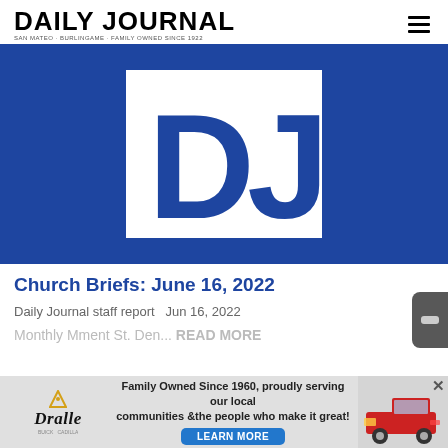DAILY JOURNAL
[Figure (logo): Daily Journal DJ logo — white DJ letters on blue background]
Church Briefs: June 16, 2022
Daily Journal staff report   Jun 16, 2022
Monthly Mment St. Den... READ MORE
[Figure (infographic): Dralle Chevrolet advertisement banner: Family Owned Since 1960, proudly serving our local communities & the people who make it great! LEARN MORE]